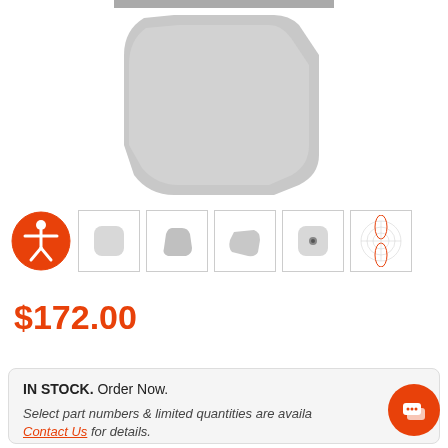[Figure (photo): Top-down view of a white wireless access point device, octagonal/rounded square shape, light gray color, on white background]
[Figure (photo): Row of product thumbnail images: accessibility icon (orange circle with person), front view, side view, angled view, bottom view with connector dot, radiation/coverage pattern diagram]
$172.00
IN STOCK. Order Now.

Select part numbers & limited quantities are available. Contact Us for details.